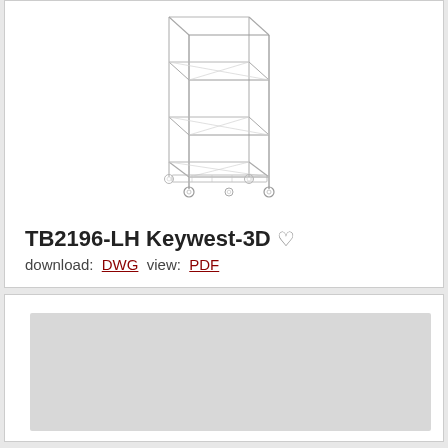[Figure (engineering-diagram): 3D isometric wireframe diagram of TB2196-LH Keywest-3D shelving unit with multiple shelf levels and caster wheels at the base]
TB2196-LH Keywest-3D
download: DWG  view: PDF
[Figure (other): Gray placeholder image area for second product card]